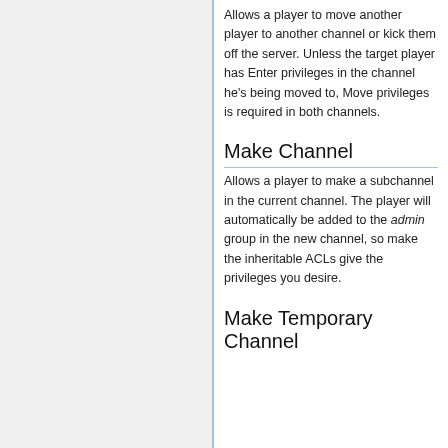Allows a player to move another player to another channel or kick them off the server. Unless the target player has Enter privileges in the channel he's being moved to, Move privileges is required in both channels.
Make Channel
Allows a player to make a subchannel in the current channel. The player will automatically be added to the admin group in the new channel, so make the inheritable ACLs give the privileges you desire.
Make Temporary Channel